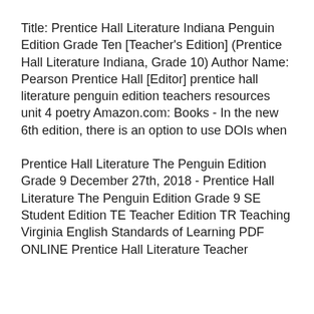Title: Prentice Hall Literature Indiana Penguin Edition Grade Ten [Teacher's Edition] (Prentice Hall Literature Indiana, Grade 10) Author Name: Pearson Prentice Hall [Editor] prentice hall literature penguin edition teachers resources unit 4 poetry Amazon.com: Books - In the new 6th edition, there is an option to use DOIs when
Prentice Hall Literature The Penguin Edition Grade 9 December 27th, 2018 - Prentice Hall Literature The Penguin Edition Grade 9 SE Student Edition TE Teacher Edition TR Teaching Virginia English Standards of Learning PDF ONLINE Prentice Hall Literature Teacher